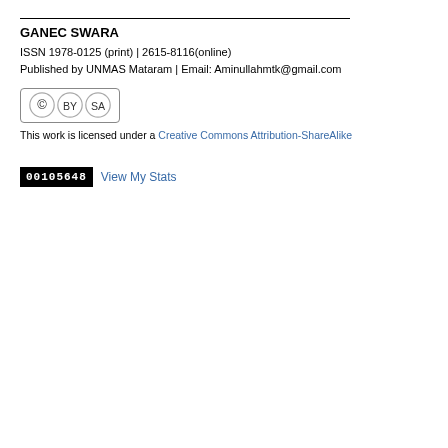GANEC SWARA
ISSN 1978-0125 (print) | 2615-8116(online)
Published by UNMAS Mataram | Email: Aminullahmtk@gmail.com
[Figure (logo): Creative Commons Attribution-ShareAlike license badge with CC, BY, SA icons, followed by text: This work is licensed under a Creative Commons Attribution-ShareAlike]
00105648 View My Stats